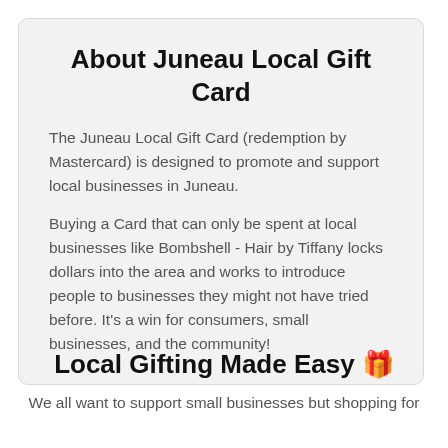About Juneau Local Gift Card
The Juneau Local Gift Card (redemption by Mastercard) is designed to promote and support local businesses in Juneau.
Buying a Card that can only be spent at local businesses like Bombshell - Hair by Tiffany locks dollars into the area and works to introduce people to businesses they might not have tried before. It's a win for consumers, small businesses, and the community!
Local Gifting Made Easy 🎁
We all want to support small businesses but shopping for